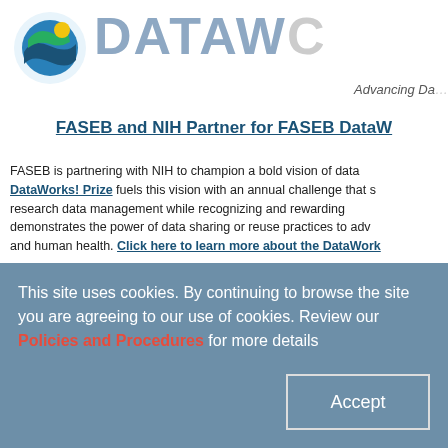[Figure (logo): DataWorks logo with circular emblem (blue/teal/yellow) and DATAW text in gray, with tagline 'Advancing Da...']
FASEB and NIH Partner for FASEB DataW...
FASEB is partnering with NIH to champion a bold vision of data... DataWorks! Prize fuels this vision with an annual challenge that s... research data management while recognizing and rewarding ... demonstrates the power of data sharing or reuse practices to adv... and human health. Click here to learn more about the DataWork...
[Figure (logo): Endocrine Fellows logo (circular badge with EFF initials) beside 'Sixteenth Fellows Foru...' text in teal/blue]
This site uses cookies. By continuing to browse the site you are agreeing to our use of cookies. Review our Policies and Procedures for more details